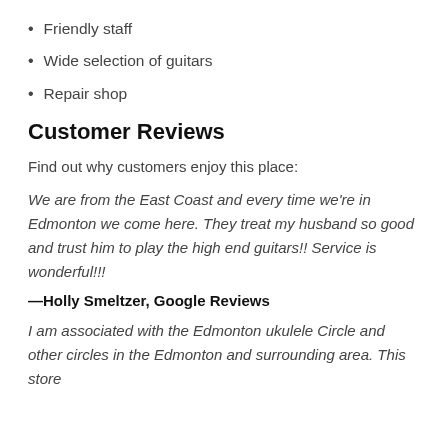Friendly staff
Wide selection of guitars
Repair shop
Customer Reviews
Find out why customers enjoy this place:
We are from the East Coast and every time we're in Edmonton we come here. They treat my husband so good and trust him to play the high end guitars!! Service is wonderful!!!
—Holly Smeltzer, Google Reviews
I am associated with the Edmonton ukulele Circle and other circles in the Edmonton and surrounding area. This store has helped with many purchases of string, bindings, etc.